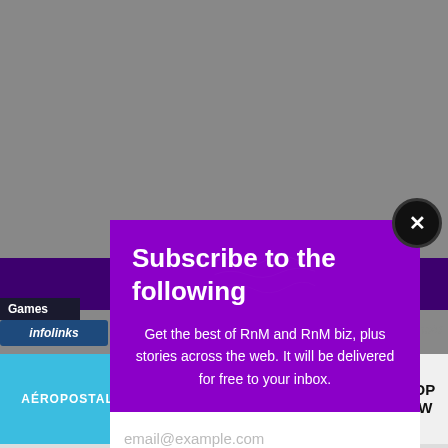[Figure (screenshot): Screenshot of a webpage with a subscription popup modal overlaying a gray background. The popup has a purple background with white text. Behind and below are partial page elements including a purple navigation bar, a 'Games' label, infolinks branding, and an Aeropostale advertisement banner at the bottom.]
Subscribe to the following
Get the best of RnM and RnM biz, plus stories across the web. It will be delivered for free to your inbox.
email@example.com
SUBSCRIBE
TEES & TANKS $6.87 & UP
AÉROPOSTALE
SHOP NOW